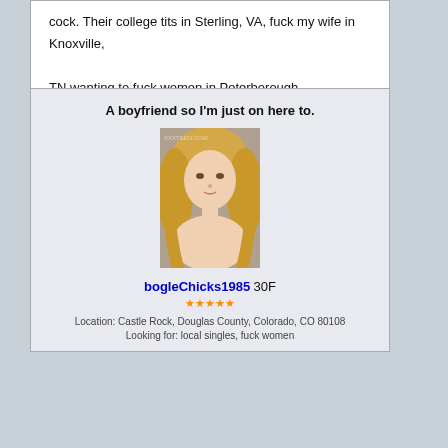cock. Their college tits in Sterling, VA, fuck my wife in Knoxville, TN wanting to fuck women in Peterborough.
A boyfriend so I'm just on here to.
[Figure (photo): Profile photo of a blonde woman]
bogleChicks1985 30F
Location: Castle Rock, Douglas County, Colorado, CO 80108
Looking for: local singles, fuck women